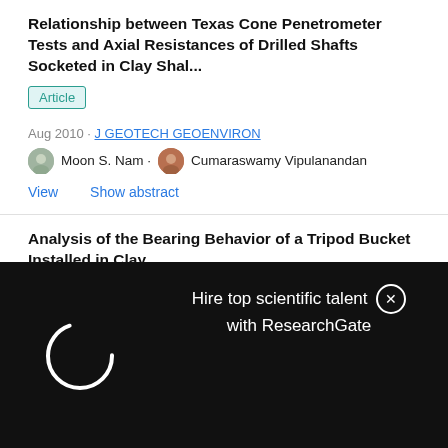Relationship between Texas Cone Penetrometer Tests and Axial Resistances of Drilled Shafts Socketed in Clay Shal...
Article
Aug 2010 · J GEOTECH GEOENVIRON
Moon S. Nam · Cumaraswamy Vipulanandan
View   Show abstract
Analysis of the Bearing Behavior of a Tripod Bucket Installed in Clay
[Figure (screenshot): Dark overlay popup with spinning loading indicator on the left and text 'Hire top scientific talent with ResearchGate' and a close button on the right]
[Figure (infographic): Advertisement banner for Applied Biosystems showing an infinity logo on a blue background with text 'Free T-Shirt anyone?']